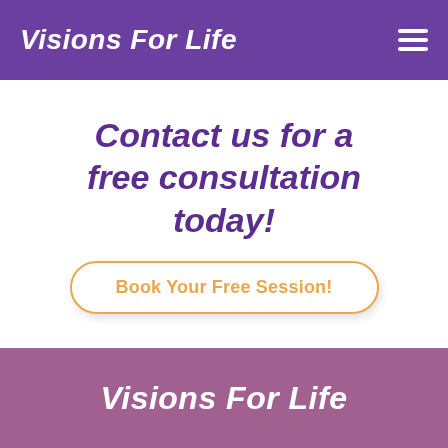Visions For Life
Contact us for a free consultation today!
Book Your Free Session!
Visions For Life